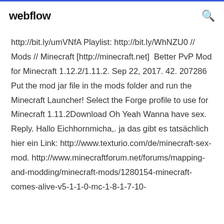webflow
http://bit.ly/umVNfA Playlist: http://bit.ly/WhNZU0 // Mods // Minecraft [http://minecraft.net]  Better PvP Mod for Minecraft 1.12.2/1.11.2. Sep 22, 2017. 42. 207286 Put the mod jar file in the mods folder and run the Minecraft Launcher! Select the Forge profile to use for Minecraft 1.11.2Download Oh Yeah Wanna have sex. Reply. Hallo Eichhornmicha,. ja das gibt es tatsächlich hier ein Link: http://www.texturio.com/de/minecraft-sex-mod. http://www.minecraftforum.net/forums/mapping-and-modding/minecraft-mods/1280154-minecraft-comes-alive-v5-1-1-0-mc-1-8-1-7-10-